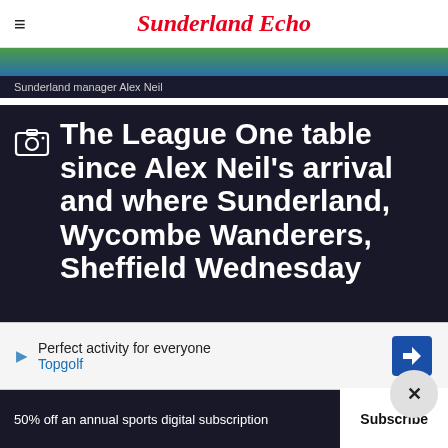Sunderland Echo
[Figure (photo): Photo strip of Sunderland manager Alex Neil on football pitch]
Sunderland manager Alex Neil
The League One table since Alex Neil's arrival and where Sunderland, Wycombe Wanderers, Sheffield Wednesday
[Figure (other): Advertisement banner: Perfect activity for everyone - Topgolf]
50% off an annual sports digital subscription